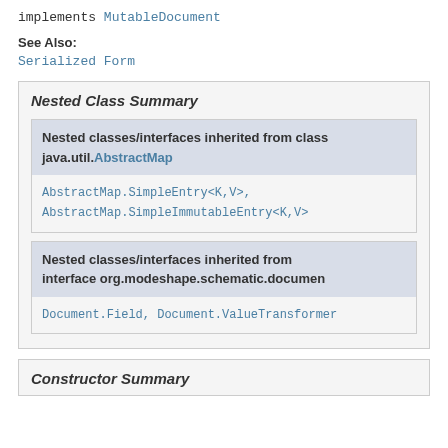implements MutableDocument
See Also:
Serialized Form
Nested Class Summary
| Nested classes/interfaces inherited from class java.util.AbstractMap |
| --- |
| AbstractMap.SimpleEntry<K,V>, AbstractMap.SimpleImmutableEntry<K,V> |
| Nested classes/interfaces inherited from interface org.modeshape.schematic.documen |
| --- |
| Document.Field, Document.ValueTransformer |
Constructor Summary